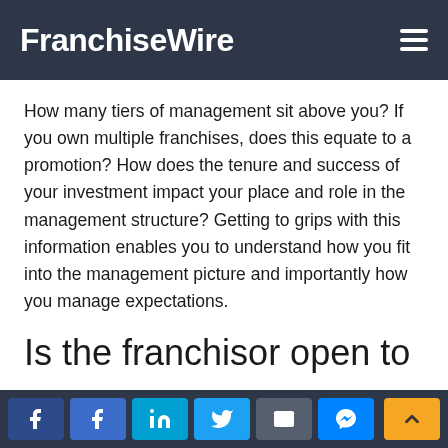FranchiseWire
How many tiers of management sit above you? If you own multiple franchises, does this equate to a promotion? How does the tenure and success of your investment impact your place and role in the management structure? Getting to grips with this information enables you to understand how you fit into the management picture and importantly how you manage expectations.
Is the franchisor open to
Social share buttons: Facebook, Facebook, LinkedIn, Twitter, Email, Messenger. Scroll to top button.